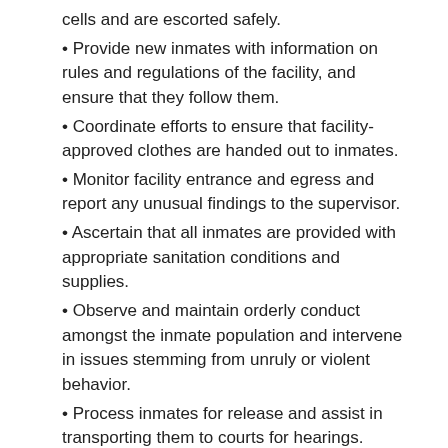cells and are escorted safely.
Provide new inmates with information on rules and regulations of the facility, and ensure that they follow them.
Coordinate efforts to ensure that facility-approved clothes are handed out to inmates.
Monitor facility entrance and egress and report any unusual findings to the supervisor.
Ascertain that all inmates are provided with appropriate sanitation conditions and supplies.
Observe and maintain orderly conduct amongst the inmate population and intervene in issues stemming from unruly or violent behavior.
Process inmates for release and assist in transporting them to courts for hearings.
Junior Detention Officer
Bethpage Central Jail, Bethpage, NY